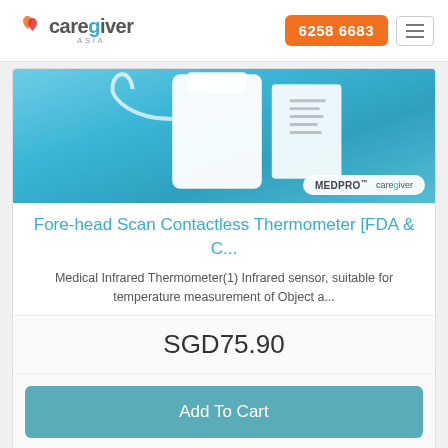[Figure (logo): Caregiver Asia logo with heart icon and orange/red hearts]
6258 6683
[Figure (photo): Product image of Fore-head Scan Contactless Thermometer on blue background with MEDPRO and Caregiver logos]
Fore-head Scan Contactless Thermometer [FDA & C...
Medical Infrared Thermometer(1) Infrared sensor, suitable for temperature measurement of Object a...
SGD75.90
Add To Cart